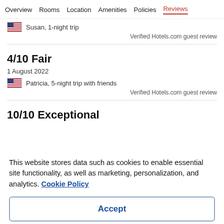Overview  Rooms  Location  Amenities  Policies  Reviews
Susan, 1-night trip
Verified Hotels.com guest review
4/10 Fair
1 August 2022
Patricia, 5-night trip with friends
Verified Hotels.com guest review
10/10 Exceptional
This website stores data such as cookies to enable essential site functionality, as well as marketing, personalization, and analytics. Cookie Policy
Accept
Deny